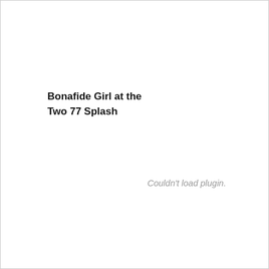Bonafide Girl at the Two 77 Splash
Couldn't load plugin.